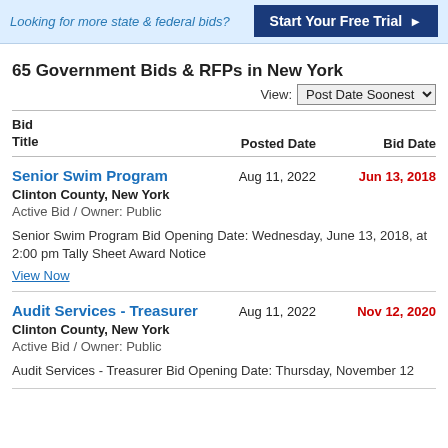Looking for more state & federal bids?
Start Your Free Trial ▶
65 Government Bids & RFPs in New York
View: Post Date Soonest
| Bid Title | Location | Phase | Description | Posted Date | Bid Date |
| --- | --- | --- | --- | --- | --- |
| Senior Swim Program | Clinton County, New York |  | Active Bid / Owner: Public
Senior Swim Program Bid Opening Date: Wednesday, June 13, 2018, at 2:00 pm Tally Sheet Award Notice | Aug 11, 2022 | Jun 13, 2018 |
| Audit Services - Treasurer | Clinton County, New York |  | Active Bid / Owner: Public
Audit Services - Treasurer Bid Opening Date: Thursday, November 12 | Aug 11, 2022 | Nov 12, 2020 |
View Now
Audit Services - Treasurer Bid Opening Date: Thursday, November 12